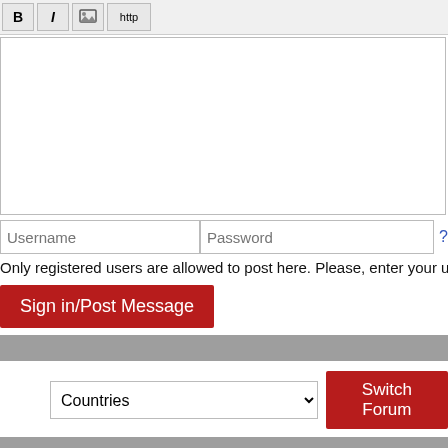[Figure (screenshot): Toolbar with bold (B), italic (I), image, and http link buttons]
[Figure (screenshot): Text area input box (empty)]
Username   Password   ?
Only registered users are allowed to post here. Please, enter your username/p
Sign in/Post Message
[Figure (screenshot): Gray separator bar]
Countries   Switch Forum
[Figure (screenshot): Gray separator bar]
[Figure (screenshot): Users/group icon]
↑